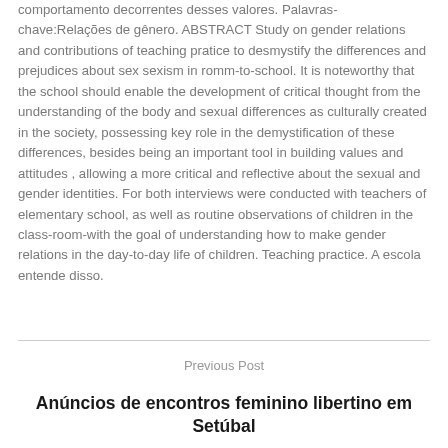comportamento decorrentes desses valores. Palavras-chave:Relações de gênero. ABSTRACT Study on gender relations and contributions of teaching pratice to desmystify the differences and prejudices about sex sexism in romm-to-school. It is noteworthy that the school should enable the development of critical thought from the understanding of the body and sexual differences as culturally created in the society, possessing key role in the demystification of these differences, besides being an important tool in building values and attitudes , allowing a more critical and reflective about the sexual and gender identities. For both interviews were conducted with teachers of elementary school, as well as routine observations of children in the class-room-with the goal of understanding how to make gender relations in the day-to-day life of children. Teaching practice. A escola entende disso.
Previous Post
Anúncios de encontros feminino libertino em Setúbal